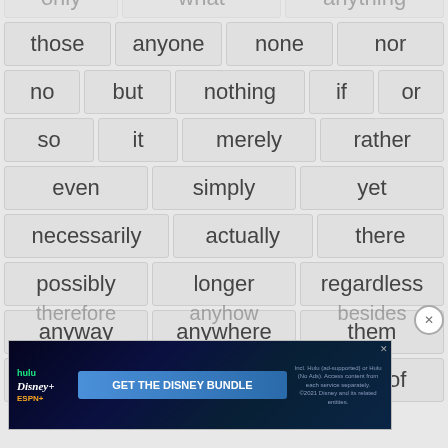those
anyone
none
nor
no
but
nothing
if
or
so
it
merely
rather
even
simply
yet
necessarily
actually
there
possibly
longer
regardless
anyway
anywhere
them
else
ever
thereof
[Figure (screenshot): Advertisement banner for Disney Bundle featuring Hulu, Disney+, ESPN+ logos and 'GET THE DISNEY BUNDLE' call-to-action button]
therefore    anyhow    besides